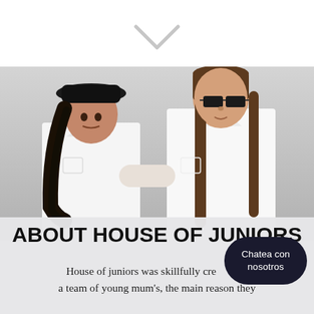[Figure (photo): Two young girls wearing white shirts posing together against a light gray background. The girl on the left has long dark curly hair and wears a black bucket hat. The girl on the right wears dark rectangular sunglasses and has long straight brown hair. The taller girl on the right has her arm resting on the shorter girl's shoulder.]
ABOUT HOUSE OF JUNIORS
House of juniors was skillfully created by a team of young mum's, the main reason they
[Figure (other): Dark rounded pill-shaped chat button overlay with white text reading 'Chatea con nosotros']